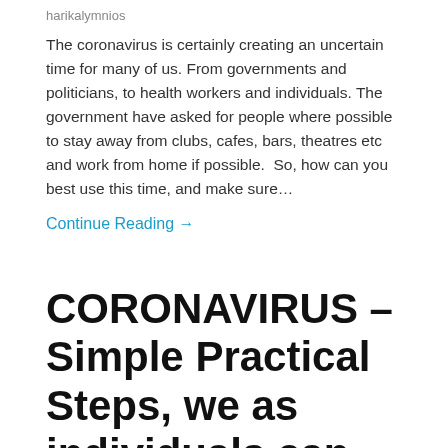harikalymnios
The coronavirus is certainly creating an uncertain time for many of us. From governments and politicians, to health workers and individuals. The government have asked for people where possible to stay away from clubs, cafes, bars, theatres etc and work from home if possible.  So, how can you best use this time, and make sure…
Continue Reading →
CORONAVIRUS – Simple Practical Steps, we as individuals can take
harikalymnios
So, people are asking me about my opinion on the